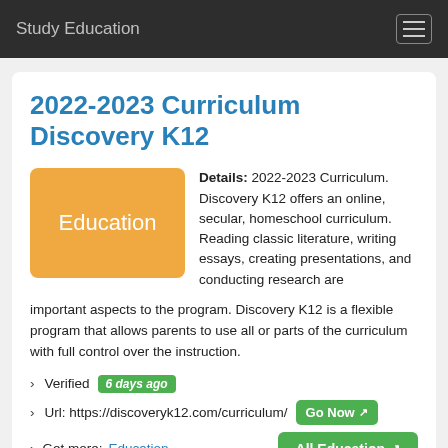Study Education
2022-2023 Curriculum Discovery K12
[Figure (other): Orange badge with white text 'Education']
Details: 2022-2023 Curriculum. Discovery K12 offers an online, secular, homeschool curriculum. Reading classic literature, writing essays, creating presentations, and conducting research are important aspects to the program. Discovery K12 is a flexible program that allows parents to use all or parts of the curriculum with full control over the instruction.
› Verified 6 days ago
› Url: https://discoveryk12.com/curriculum/
› Get more: Education